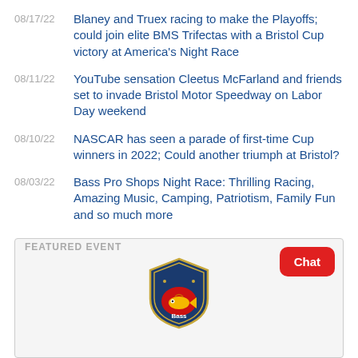08/17/22 — Blaney and Truex racing to make the Playoffs; could join elite BMS Trifectas with a Bristol Cup victory at America's Night Race
08/11/22 — YouTube sensation Cleetus McFarland and friends set to invade Bristol Motor Speedway on Labor Day weekend
08/10/22 — NASCAR has seen a parade of first-time Cup winners in 2022; Could another triumph at Bristol?
08/03/22 — Bass Pro Shops Night Race: Thrilling Racing, Amazing Music, Camping, Patriotism, Family Fun and so much more
FEATURED EVENT
[Figure (logo): Bass Pro Shops shield logo with blue background and bass fish]